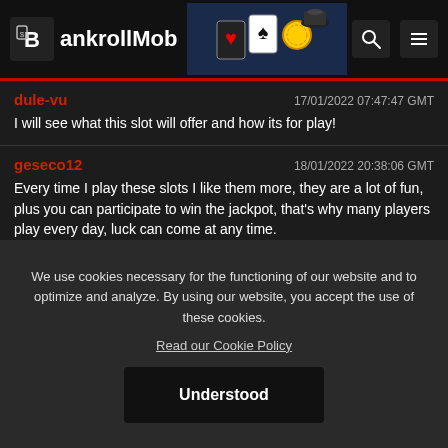[Figure (screenshot): BankrollMob website header with logo, casino imagery, search icon, and menu icon]
dule-vu | 17/01/2022 07:47:47 GMT
I will see what this slot will offer and how its for play!
geseco12 | 18/01/2022 20:38:06 GMT
Every time I play these slots I like them more, they are a lot of fun, plus you can participate to win the jackpot, that's why many players play every day, luck can come at any time.
dule-vu | 18/01/2022 20:38:12 GMT
You must play them every day if you want to hit something!
We use cookies necessary for the functioning of our website and to optimize and analyze. By using our website, you accept the use of these cookies.
Read our Cookie Policy
Understood